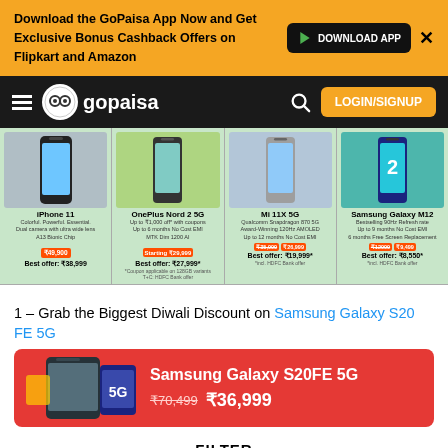Download the GoPaisa App Now and Get Exclusive Bonus Cashback Offers on Flipkart and Amazon
[Figure (screenshot): GoPaisa navbar with hamburger menu, logo, search icon, and LOGIN/SIGNUP button]
[Figure (screenshot): Product cards strip showing iPhone 11, OnePlus Nord 2 5G, Mi 11X 5G, Samsung Galaxy M12 with prices]
1 – Grab the Biggest Diwali Discount on Samsung Galaxy S20 FE 5G
[Figure (screenshot): Samsung Galaxy S20FE 5G promotional banner showing price ₹70,499 ₹36,999]
FILTER